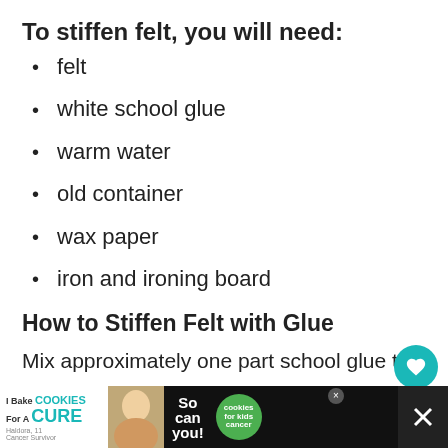To stiffen felt, you will need:
felt
white school glue
warm water
old container
wax paper
iron and ironing board
How to Stiffen Felt with Glue
Mix approximately one part school glue to